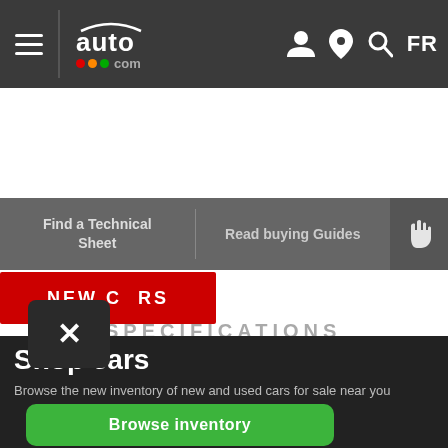auto123.com navigation bar with hamburger menu, logo, user icon, location icon, search icon, FR language selector
Find a Technical Sheet
Read buying Guides
NEW CARS
Shop cars
Browse the new inventory of new and used cars for sale near you
Browse inventory